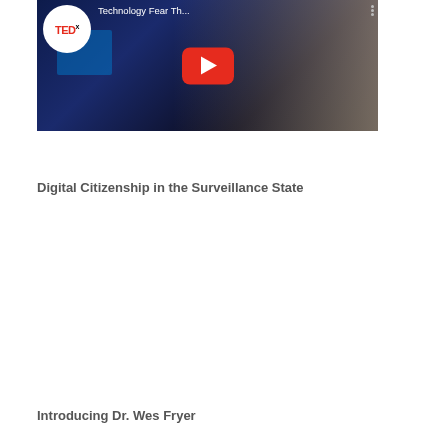[Figure (screenshot): TEDx YouTube video thumbnail showing a presenter on stage with arms outstretched. Video title reads 'Technology Fear Th...' with TEDx logo in upper left and YouTube play button in center.]
Digital Citizenship in the Surveillance State
Introducing Dr. Wes Fryer